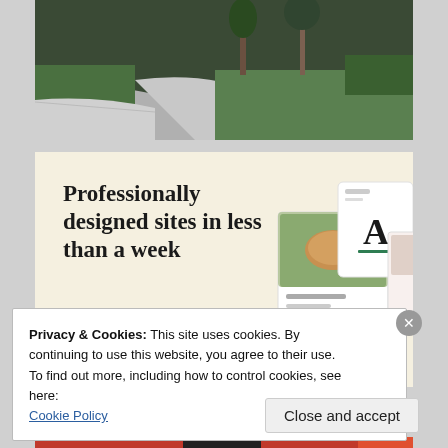[Figure (photo): Outdoor photo showing a suburban driveway with grass lawn, concrete curb, and trees in the background]
[Figure (infographic): Advertisement banner on cream background showing website mockups and text 'Professionally designed sites in less than a week' with a green 'Explore options' button]
Privacy & Cookies: This site uses cookies. By continuing to use this website, you agree to their use.
To find out more, including how to control cookies, see here:
Cookie Policy
Close and accept